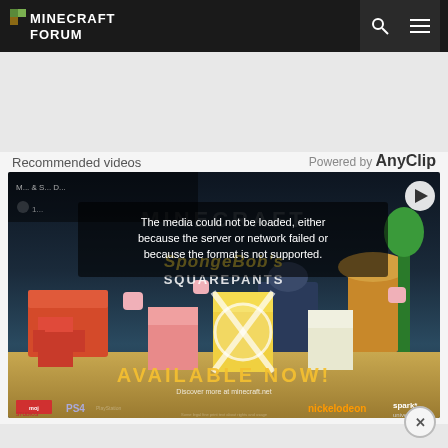Minecraft Forum
[Figure (screenshot): Minecraft Forum website screenshot showing a video player with a SpongeBob SquarePants Minecraft DLC advertisement. The video shows an error message: 'The media could not be loaded, either because the server or network failed or because the format is not supported.' The video features SpongeBob characters rendered in Minecraft block style with text 'AVAILABLE NOW!' and logos for Mojang Studios, PS4, Nickelodeon, and Spark Universe.]
Recommended videos
Powered by AnyClip
The media could not be loaded, either because the server or network failed or because the format is not supported.